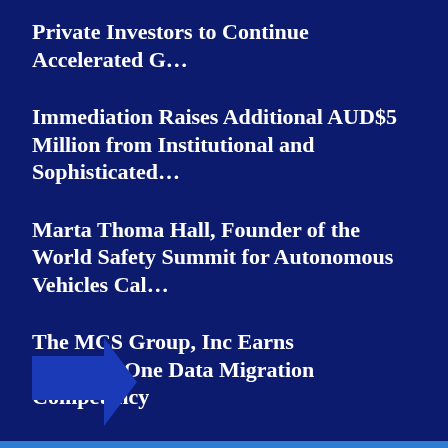Private Investors to Continue Accelerated G…
Immediation Raises Additional AUD$5 Million from Institutional and Sophisticated…
Marta Thoma Hall, Founder of the World Safety Summit for Autonomous Vehicles Cal…
The MCS Group, Inc Earns RelativityOne Data Migration Competency
[Figure (illustration): Blue right-pointing arrow icon]